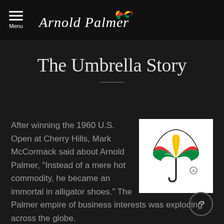Menu — Arnold Palmer logo
The Umbrella Story
[Figure (logo): Arnold Palmer colorful umbrella logo on white background]
After winning the 1960 U.S. Open at Cherry Hills, Mark McCormack said about Arnold Palmer, "Instead of a mere hot commodity, he became an immortal in alligator shoes." The Palmer empire of business interests was exploding across the globe.